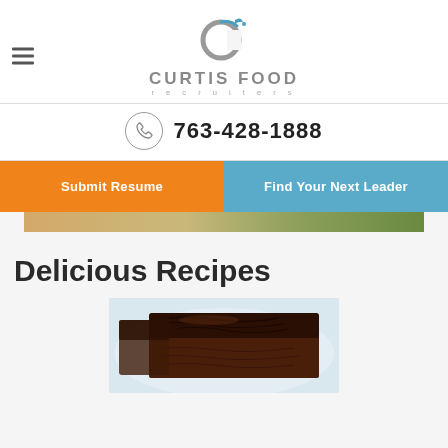[Figure (logo): Curtis Food Recruiters logo with circular C icon in gray and blue]
763-428-1888
Submit Resume
Find Your Next Leader
[Figure (photo): Partial banner image of food]
Delicious Recipes
[Figure (photo): Close-up photo of chocolate brownies on a plate]